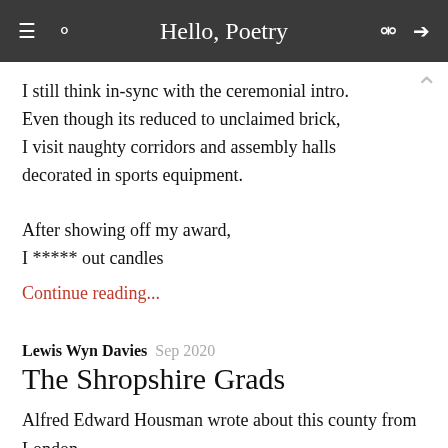Hello, Poetry
I still think in-sync with the ceremonial intro.
Even though its reduced to unclaimed brick,
I visit naughty corridors and assembly halls
decorated in sports equipment.

After showing off my award,
I ***** out candles
Continue reading...
Lewis Wyn Davies  Sep 2020
The Shropshire Grads
Alfred Edward Housman wrote about this county from London,
we smoke pipes and drink pints to honour the scholar's story,
which can be checked out the library, former learning quarters